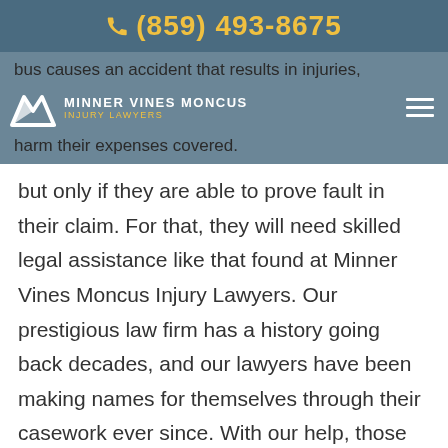(859) 493-8675
[Figure (logo): Minner Vines Moncus Injury Lawyers logo with navigation overlay on blue-gray background strip showing partial text: 'bus causes an accident that results in injuries,' and firm branding]
but only if they are able to prove fault in their claim. For that, they will need skilled legal assistance like that found at Minner Vines Moncus Injury Lawyers. Our prestigious law firm has a history going back decades, and our lawyers have been making names for themselves through their casework ever since. With our help, those injured in bus accidents can get the financial compensation they are owed.